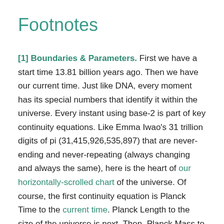Footnotes
[1] Boundaries & Parameters. First we have a start time 13.81 billion years ago. Then we have our current time. Just like DNA, every moment has its special numbers that identify it within the universe. Every instant using base-2 is part of key continuity equations. Like Emma Iwao’s 31 trillion digits of pi (31,415,926,535,897) that are never-ending and never-repeating (always changing and always the same), here is the heart of our horizontally-scrolled chart of the universe. Of course, the first continuity equation is Planck Time to the current time. Planck Length to the size of the universe is next. Then, Planck Mass to the total mass of the universe and Planck